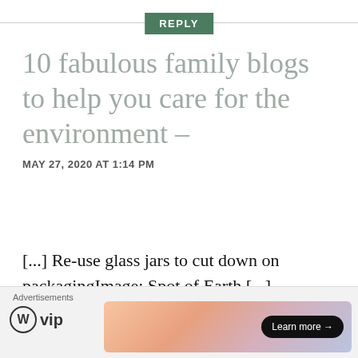REPLY
10 fabulous family blogs to help you care for the environment –
MAY 27, 2020 AT 1:14 PM
[...] Re-use glass jars to cut down on packagingImage: Spot of Earth [...]
Liked by 1 person
Advertisements